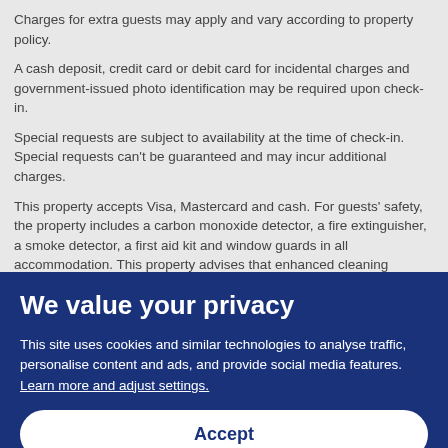Charges for extra guests may apply and vary according to property policy.
A cash deposit, credit card or debit card for incidental charges and government-issued photo identification may be required upon check-in.
Special requests are subject to availability at the time of check-in. Special requests can't be guaranteed and may incur additional charges.
This property accepts Visa, Mastercard and cash. For guests' safety, the property includes a carbon monoxide detector, a fire extinguisher, a smoke detector, a first aid kit and window guards in all accommodation. This property advises that enhanced cleaning measures are currently in place. The property is professionally cleaned and disinfectant is used to clean the property.
Property is cleaned with disinfectant
We value your privacy
This site uses cookies and similar technologies to analyse traffic, personalise content and ads, and provide social media features. Learn more and adjust settings.
Accept